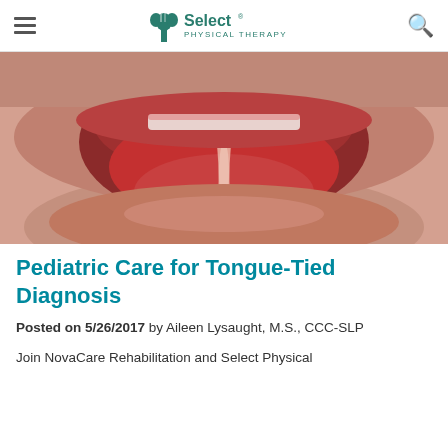Select Physical Therapy
[Figure (photo): Close-up photograph of an open mouth showing the tongue and a tongue-tie (lingual frenulum) visible underneath the tongue, with lips and mouth tissue visible.]
Pediatric Care for Tongue-Tied Diagnosis
Posted on 5/26/2017 by Aileen Lysaught, M.S., CCC-SLP
Join NovaCare Rehabilitation and Select Physical